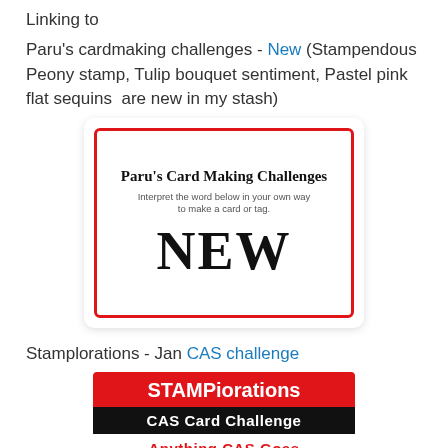Linking to
Paru's cardmaking challenges - New (Stampendous Peony stamp, Tulip bouquet sentiment, Pastel pink flat sequins  are new in my stash)
[Figure (other): Paru's Card Making Challenges badge with red border showing word NEW in large serif font and subtitle 'Interpret the word below in your own way to make a card or tag.']
Stamplorations - Jan CAS challenge
[Figure (other): STAMPlorations CAS Card Challenge badge with red and black header, white text, and 'Anything CAS Goes' in red text on white background]